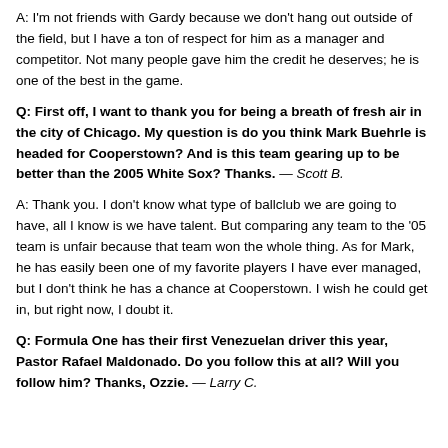A: I'm not friends with Gardy because we don't hang out outside of the field, but I have a ton of respect for him as a manager and competitor. Not many people gave him the credit he deserves; he is one of the best in the game.
Q: First off, I want to thank you for being a breath of fresh air in the city of Chicago. My question is do you think Mark Buehrle is headed for Cooperstown? And is this team gearing up to be better than the 2005 White Sox? Thanks. — Scott B.
A: Thank you. I don't know what type of ballclub we are going to have, all I know is we have talent. But comparing any team to the '05 team is unfair because that team won the whole thing. As for Mark, he has easily been one of my favorite players I have ever managed, but I don't think he has a chance at Cooperstown. I wish he could get in, but right now, I doubt it.
Q: Formula One has their first Venezuelan driver this year, Pastor Rafael Maldonado. Do you follow this at all? Will you follow him? Thanks, Ozzie. — Larry C.